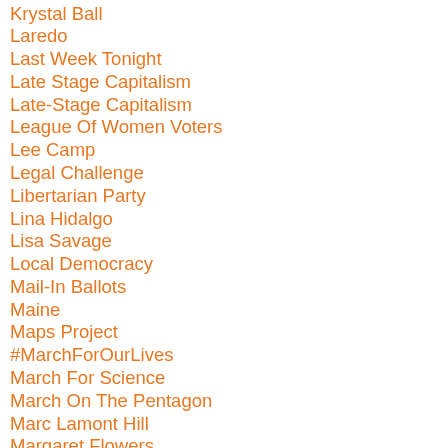Krystal Ball
Laredo
Last Week Tonight
Late Stage Capitalism
Late-Stage Capitalism
League Of Women Voters
Lee Camp
Legal Challenge
Libertarian Party
Lina Hidalgo
Lisa Savage
Local Democracy
Mail-In Ballots
Maine
Maps Project
#MarchForOurLives
March For Science
March On The Pentagon
Marc Lamont Hill
Margaret Flowers
Marijuana